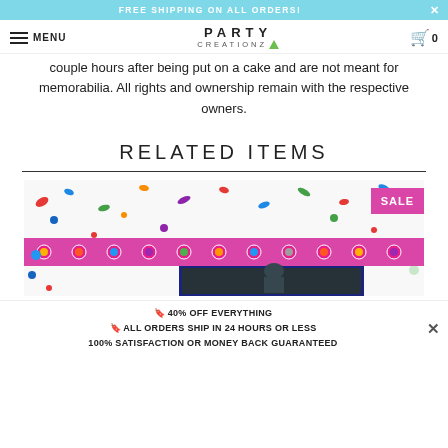FREE SHIPPING ON ALL ORDERS!
MENU | PARTY CREATIONZ | 0
couple hours after being put on a cake and are not meant for memorabilia. All rights and ownership remain with the respective owners.
RELATED ITEMS
[Figure (photo): Product photo showing a colorful party cake topper with confetti and a decorative purple/magenta chain border. A 'SALE' badge is visible in the top right corner.]
🔖 40% OFF EVERYTHING
🔖 ALL ORDERS SHIP IN 24 HOURS OR LESS
100% SATISFACTION OR MONEY BACK GUARANTEED